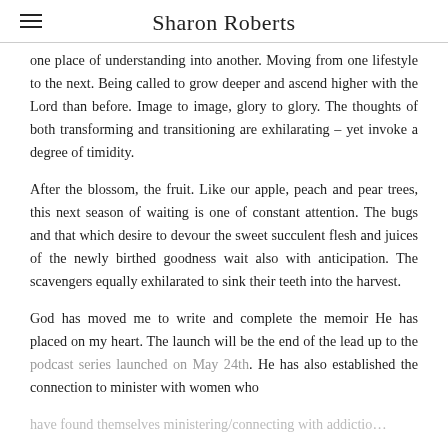Sharon Roberts
one place of understanding into another. Moving from one lifestyle to the next. Being called to grow deeper and ascend higher with the Lord than before. Image to image, glory to glory. The thoughts of both transforming and transitioning are exhilarating – yet invoke a degree of timidity.
After the blossom, the fruit. Like our apple, peach and pear trees, this next season of waiting is one of constant attention. The bugs and that which desire to devour the sweet succulent flesh and juices of the newly birthed goodness wait also with anticipation. The scavengers equally exhilarated to sink their teeth into the harvest.
God has moved me to write and complete the memoir He has placed on my heart. The launch will be the end of the lead up to the podcast series launched on May 24th. He has also established the connection to minister with women who
have found themselves ministering/connecting with addiction…